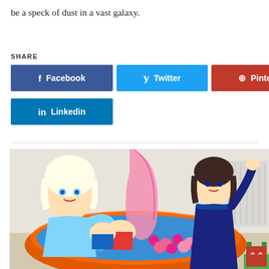be a speck of dust in a vast galaxy.
SHARE
Facebook | Twitter | Pinterest | Linkedin (social share buttons)
[Figure (photo): Children in an Elsa costume and Anna costume playing in a ball pit filled with blue and pink balls, with a large bag of pink balls being poured in]
[Figure (other): Red scroll-to-top button with double chevron arrows]